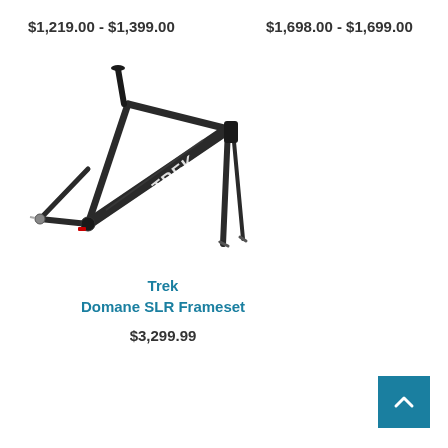$1,219.00 - $1,399.00
$1,698.00 - $1,699.00
[Figure (photo): Trek Domane SLR Frameset bicycle frame in dark/black carbon finish with Trek logo, showing frame, fork, and seatpost against white background]
Trek
Domane SLR Frameset
$3,299.99